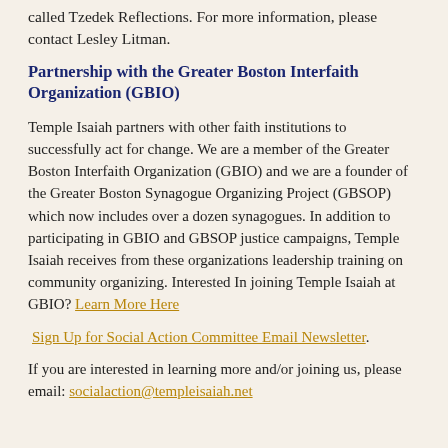called Tzedek Reflections. For more information, please contact Lesley Litman.
Partnership with the Greater Boston Interfaith Organization (GBIO)
Temple Isaiah partners with other faith institutions to successfully act for change. We are a member of the Greater Boston Interfaith Organization (GBIO) and we are a founder of the Greater Boston Synagogue Organizing Project (GBSOP) which now includes over a dozen synagogues. In addition to participating in GBIO and GBSOP justice campaigns, Temple Isaiah receives from these organizations leadership training on community organizing. Interested In joining Temple Isaiah at GBIO? Learn More Here
Sign Up for Social Action Committee Email Newsletter.
If you are interested in learning more and/or joining us, please email: socialaction@templeisaiah.net